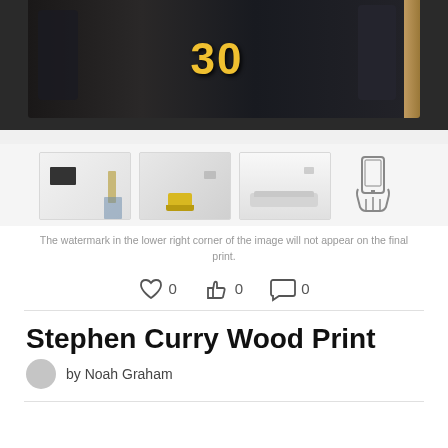[Figure (photo): Wood print of Stephen Curry #30 in Golden State Warriors jersey, mounted on wood block]
[Figure (photo): Three thumbnail room preview images showing the print in different interior settings, plus a phone icon for AR preview]
The watermark in the lower right corner of the image will not appear on the final print.
[Figure (infographic): Social interaction icons: heart with 0, thumbs-up with 0, comment bubble with 0]
Stephen Curry Wood Print
by Noah Graham